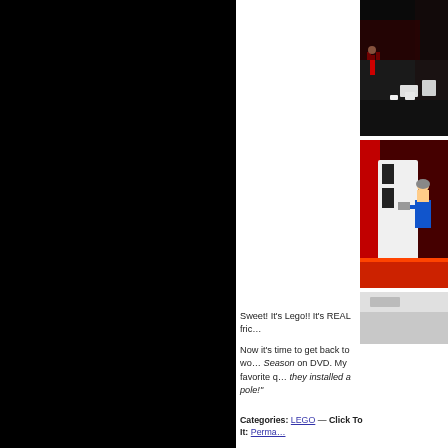[Figure (photo): Black panel on left side of page]
[Figure (photo): Top right photo showing LEGO scene with figures in dark arena/stage setting with red and white elements]
[Figure (photo): Middle right photo showing LEGO figures in red and white setting with a character holding something]
[Figure (photo): Bottom right partial image, light gray/white color]
Sweet! It's Lego!! It's REAL fric…
Now it's time to get back to wo… Season on DVD. My favorite q… they installed a pole!"
Categories: LEGO — Click To It: Perma…